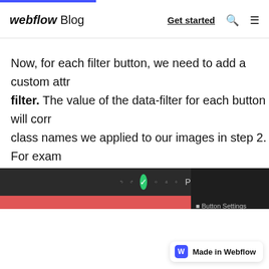webflow Blog | Get started
Now, for each filter button, we need to add a custom attribute called data-filter. The value of the data-filter for each button will correspond to the class names we applied to our images in step 2. For example, the "people" button will have a value of .people.
[Figure (screenshot): Webflow editor screenshot showing toolbar with undo/redo, green checkmark, code, export, and Publish buttons on dark background, with a red highlighted button element selected and a right panel showing Button Settings with ID field. A 'Made in Webflow' badge appears at the bottom right.]